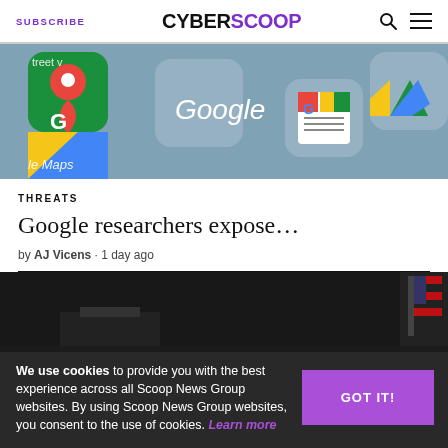SUBSCRIBE   CYBERSCOOP
[Figure (photo): Close-up of smartphone screen showing Google Maps, Google, and Google News app icons on a blue-grey background.]
THREATS
Google researchers expose…
by AJ Vicens • 1 day ago
[Figure (photo): Dark image of a person at a podium with an American flag, partial view.]
We use cookies to provide you with the best experience across all Scoop News Group websites. By using Scoop News Group websites, you consent to the use of cookies. Learn more   GOT IT!